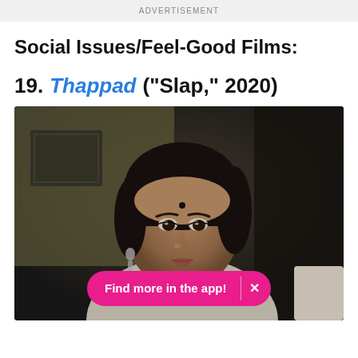ADVERTISEMENT
Social Issues/Feel-Good Films:
19. Thappad ("Slap," 2020)
[Figure (photo): Movie still from Thappad (2020) showing a woman looking thoughtful, with a 'Find more in the app!' button overlay at the bottom.]